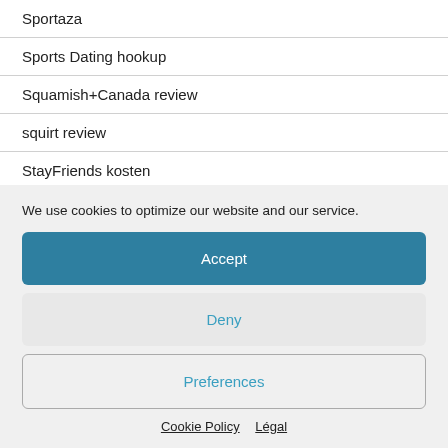Sportaza
Sports Dating hookup
Squamish+Canada review
squirt review
StayFriends kosten
We use cookies to optimize our website and our service.
Accept
Deny
Preferences
Cookie Policy   Légal